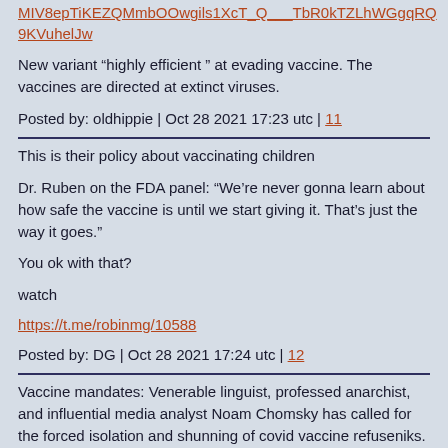MIV8epTiKEZQMmbOOwgils1XcT_Q___TbR0kTZLhWGgqRQ9KVuhelJw
New variant “highly efficient “ at evading vaccine. The vaccines are directed at extinct viruses.
Posted by: oldhippie | Oct 28 2021 17:23 utc | 11
This is their policy about vaccinating children
Dr. Ruben on the FDA panel: “We’re never gonna learn about how safe the vaccine is until we start giving it. That’s just the way it goes.”
You ok with that?
watch
https://t.me/robinmg/10588
Posted by: DG | Oct 28 2021 17:24 utc | 12
Vaccine mandates: Venerable linguist, professed anarchist, and influential media analyst Noam Chomsky has called for the forced isolation and shunning of covid vaccine refuseniks. Veteran journalist Jonathan Cook offers a logic exercise working through Chomsky’s points of argument: https://...